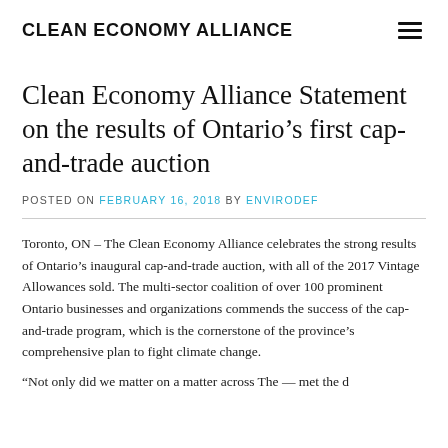CLEAN ECONOMY ALLIANCE
Clean Economy Alliance Statement on the results of Ontario’s first cap-and-trade auction
POSTED ON FEBRUARY 16, 2018 BY ENVIRODEF
Toronto, ON – The Clean Economy Alliance celebrates the strong results of Ontario’s inaugural cap-and-trade auction, with all of the 2017 Vintage Allowances sold. The multi-sector coalition of over 100 prominent Ontario businesses and organizations commends the success of the cap-and-trade program, which is the cornerstone of the province’s comprehensive plan to fight climate change.